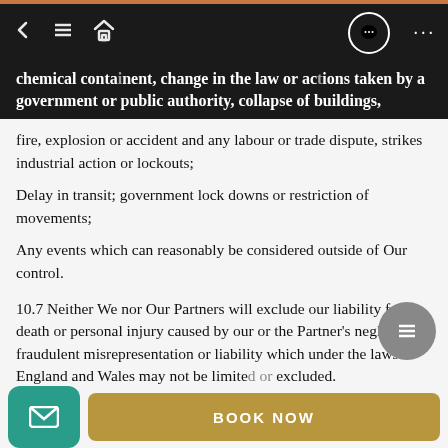Navigation bar with back, menu, home, chat, and more icons
action of war, threat or preparation for war, for hazardous chemical contaminent, change in the law or actions taken by a government or public authority, collapse of buildings, fire, explosion or accident and any labour or trade dispute, strikes industrial action or lockouts;
Delay in transit; government lock downs or restriction of movements;
Any events which can reasonably be considered outside of Our control.
10.7 Neither We nor Our Partners will exclude our liability for death or personal injury caused by our or the Partner's negligence, fraudulent misrepresentation or liability which under the laws of England and Wales may not be limited or excluded.
10.8 None of our employees or subcontractors other than
Email contact button | BOOK NOW